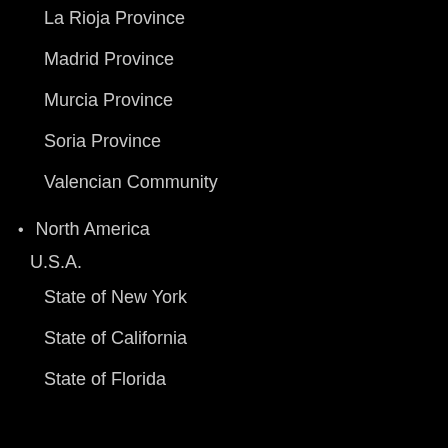La Rioja Province
Madrid Province
Murcia Province
Soria Province
Valencian Community
North America
U.S.A.
State of New York
State of California
State of Florida